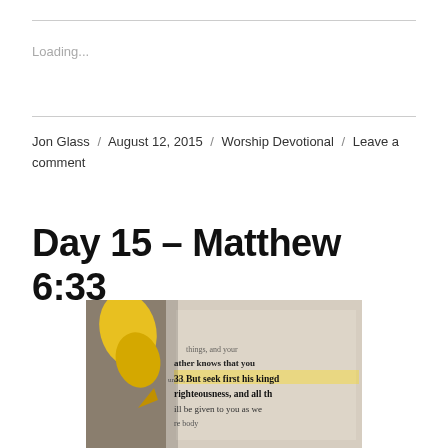Loading...
Jon Glass / August 12, 2015 / Worship Devotional / Leave a comment
Day 15 – Matthew 6:33
[Figure (photo): Close-up photograph of an open Bible with a yellow highlighter resting on it, showing text including 'But seek first his kingd... righteousness, and all th...']